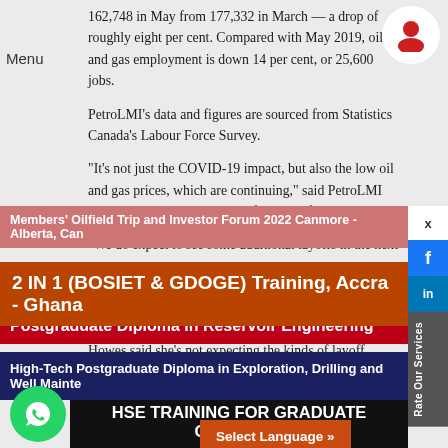162,748 in May from 177,332 in March — a drop of roughly eight per cent. Compared with May 2019, oil and gas employment is down 14 per cent, or 25,600 jobs.
PetroLMI's data and figures are sourced from Statistics Canada's Labour Force Survey.
“It’s not just the COVID-19 impact, but also the low oil and gas prices, which are continuing,” said PetroLMI vice-president Carol Howes of the jobs figures.
“We do expect to see some additional layoffs in the next
Howes said she’s not expecting the kinds of layoff numbers
services and pipeline sectors stood at about 226,000.
of people working in the industry,” Howes said “As a result of that, we only have so much we can cut, so many places we
North America’s oil indust
Members’ Oilfield Trip and Investor Forum 2022 Canmore - Alberta, Can
2 IN 1 (BOSIET & GDOGE) Training, Accra - Ghana
Postgraduate Diploma in Reservoir Engineering
High-Tech Postgraduate Diploma in Exploration, Drilling and Well Mainte
HSE TRAINING FOR GRADUATE GLOBALLY
Select Language »